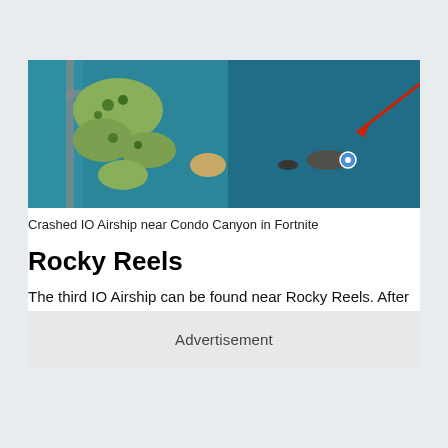[Figure (screenshot): Aerial map view of Fortnite showing islands separated by teal water with a red arrow pointing to the Crashed IO Airship location near Condo Canyon. A location pin is visible near the airship.]
Crashed IO Airship near Condo Canyon in Fortnite
Rocky Reels
The third IO Airship can be found near Rocky Reels. After landing on the POI, players simply have to head west and reach the location marked below:
Advertisement